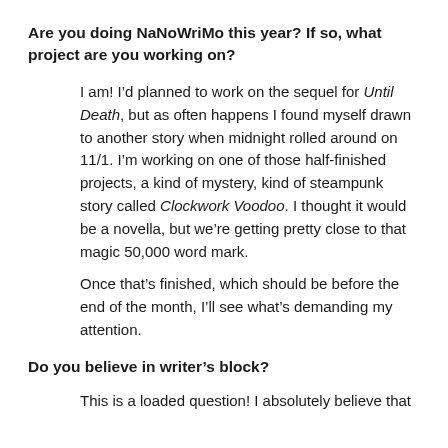Are you doing NaNoWriMo this year? If so, what project are you working on?
I am! I’d planned to work on the sequel for Until Death, but as often happens I found myself drawn to another story when midnight rolled around on 11/1. I’m working on one of those half-finished projects, a kind of mystery, kind of steampunk story called Clockwork Voodoo. I thought it would be a novella, but we’re getting pretty close to that magic 50,000 word mark.
Once that’s finished, which should be before the end of the month, I’ll see what’s demanding my attention.
Do you believe in writer’s block?
This is a loaded question! I absolutely believe that